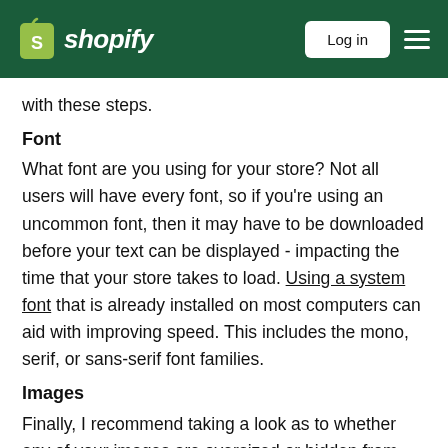shopify | Log in
with these steps.
Font
What font are you using for your store? Not all users will have every font, so if you're using an uncommon font, then it may have to be downloaded before your text can be displayed - impacting the time that your store takes to load. Using a system font that is already installed on most computers can aid with improving speed. This includes the mono, serif, or sans-serif font families.
Images
Finally, I recommend taking a look as to whether any of your images are oversized or hidden from